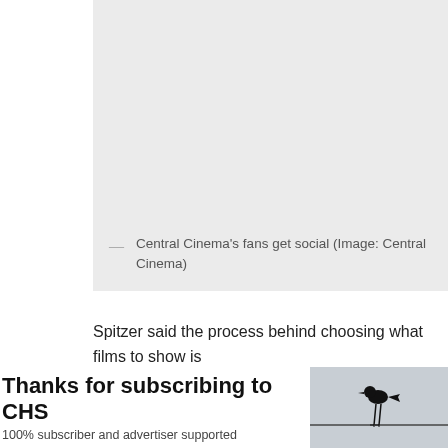[Figure (photo): Gray placeholder area representing a photo of Central Cinema fans getting social]
— Central Cinema's fans get social (Image: Central Cinema)
Spitzer said the process behind choosing what films to show is
“You can’t just sit at a little room with a desk and think about it places, getting a sense of the pulse,” he said. “(You have) to st
With Netflix and HDTVs making home viewing increasingly acc new generation into the theater.
Thanks for subscribing to CHS
100% subscriber and advertiser supported